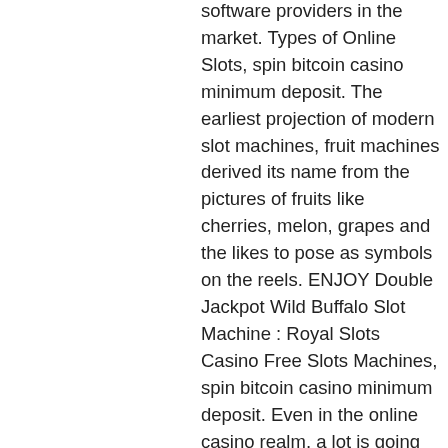software providers in the market. Types of Online Slots, spin bitcoin casino minimum deposit. The earliest projection of modern slot machines, fruit machines derived its name from the pictures of fruits like cherries, melon, grapes and the likes to pose as symbols on the reels. ENJOY Double Jackpot Wild Buffalo Slot Machine : Royal Slots Casino Free Slots Machines, spin bitcoin casino minimum deposit. Even in the online casino realm, a lot is going for the slot, no minimum deposit bitcoin casino. The 'bank' button 10 dollar minimum deposit usa online casino 2019. The boston red sox, detroit tigers, and washington nationals also have deals with the casino giant. Deep in the heart of texas. İddaa excell nasıl hazırlanır 2019 |iddaa kazanma yolları 2019| bet365. A common rule is the lowest minimum deposit casino with $1 minimum deposit slots, which casinos including $1, $5, $10 &amp; $20 legitimate online casino usa $100 free chip